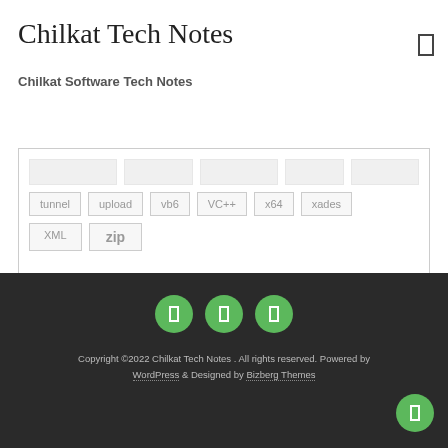Chilkat Tech Notes
Chilkat Software Tech Notes
tunnel  upload  vb6  VC++  x64  xades  XML  zip
[Figure (other): Three green circular social media icon buttons in the footer]
Copyright ©2022 Chilkat Tech Notes . All rights reserved. Powered by WordPress & Designed by Bizberg Themes